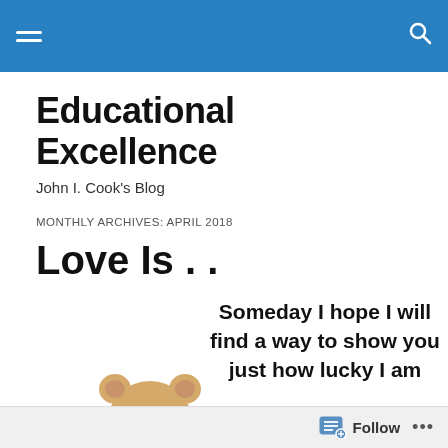Educational Excellence blog header navigation bar
Educational Excellence
John I. Cook's Blog
MONTHLY ARCHIVES: APRIL 2018
Love Is . .
[Figure (illustration): A cute teddy bear lying down with text overlay reading: Someday I hope I will find a way to show you just how lucky I am]
Follow ...